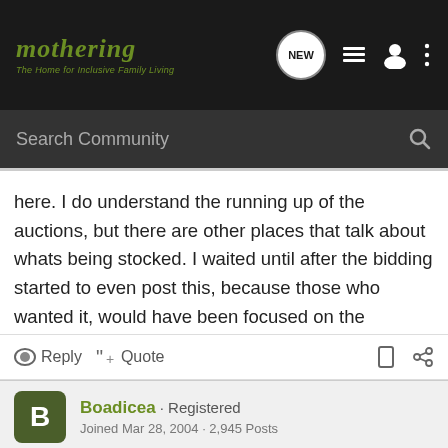[Figure (screenshot): Mothering website top navigation bar with logo, NEW button, list icon, user icon, and dots menu icon on dark background]
[Figure (screenshot): Search Community search bar on dark grey background with magnifying glass icon]
here. I do understand the running up of the auctions, but there are other places that talk about whats being stocked. I waited until after the bidding started to even post this, because those who wanted it, would have been focused on the auction, not on the boards.
Reply  Quote
Boadicea · Registered
Joined Mar 28, 2004 · 2,945 Posts
#12 · Jun 8, 2005
Quote: